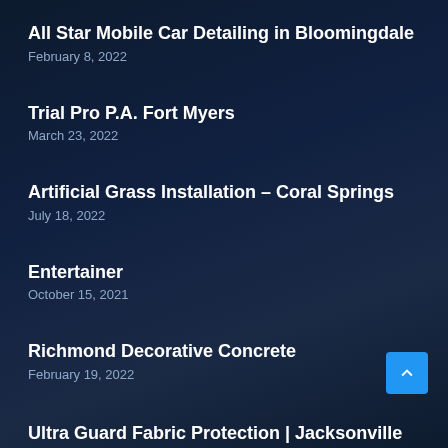All Star Mobile Car Detailing in Bloomingdale
February 8, 2022
Trial Pro P.A. Fort Myers
March 23, 2022
Artificial Grass Installation – Coral Springs
July 18, 2022
Entertainer
October 15, 2021
Richmond Decorative Concrete
February 19, 2022
Ultra Guard Fabric Protection | Jacksonville